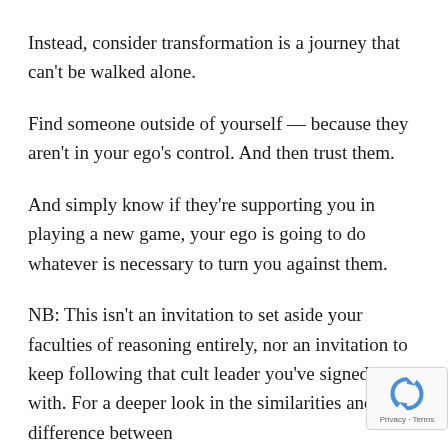Instead, consider transformation is a journey that can't be walked alone.
Find someone outside of yourself — because they aren't in your ego's control. And then trust them.
And simply know if they're supporting you in playing a new game, your ego is going to do whatever is necessary to turn you against them.
NB: This isn't an invitation to set aside your faculties of reasoning entirely, nor an invitation to keep following that cult leader you've signed on with. For a deeper look in the similarities and difference between